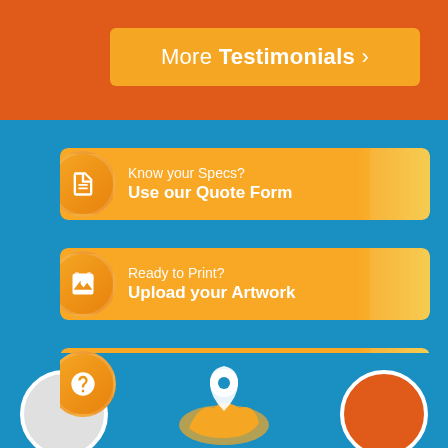More Testimonials >
Know your Specs? Use our Quote Form
Ready to Print? Upload your Artwork
Have a Question? Check out our FAQ
[Figure (illustration): Bottom section with circular icons and a map/location pin illustration on a blue background]